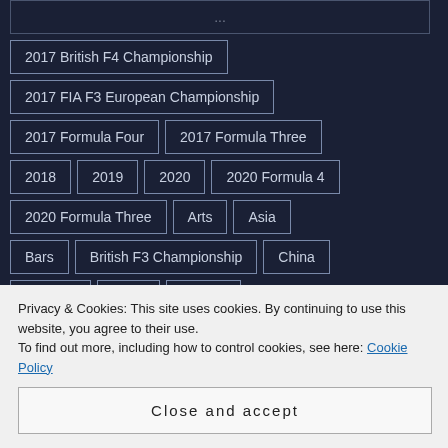2017 British F4 Championship
2017 FIA F3 European Championship
2017 Formula Four
2017 Formula Three
2018
2019
2020
2020 Formula 4
2020 Formula Three
Arts
Asia
Bars
British F3 Championship
China
Cooking
Drink
Europe
FIA F3 European Championship
Food
Privacy & Cookies: This site uses cookies. By continuing to use this website, you agree to their use.
To find out more, including how to control cookies, see here: Cookie Policy
Close and accept